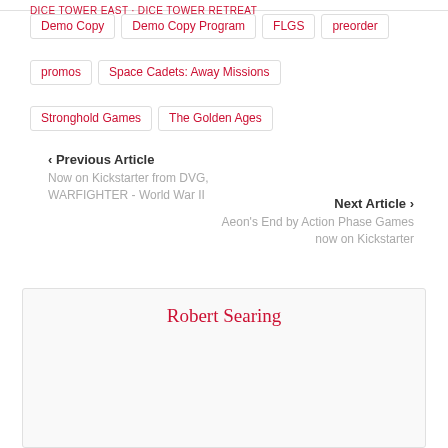DICE TOWER EAST · DICE TOWER RETREAT
Demo Copy
Demo Copy Program
FLGS
preorder
promos
Space Cadets: Away Missions
Stronghold Games
The Golden Ages
‹ Previous Article
Now on Kickstarter from DVG, WARFIGHTER - World War II
Next Article ›
Aeon's End by Action Phase Games now on Kickstarter
Robert Searing